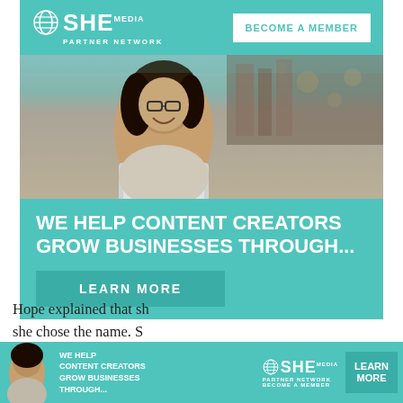[Figure (infographic): SHE Media Partner Network advertisement banner with teal background, logo, 'BECOME A MEMBER' button, photo of smiling woman with glasses using laptop, tagline 'WE HELP CONTENT CREATORS GROW BUSINESSES THROUGH...' and 'LEARN MORE' button]
Hope explained that sh
she chose the name. S
everyone's minds. San
that his friend is "a go
why he has a crush on her. Though they never met in rea
[Figure (infographic): SHE Media Partner Network small bottom banner ad with teal background, woman photo, tagline text, logo, and LEARN MORE button]